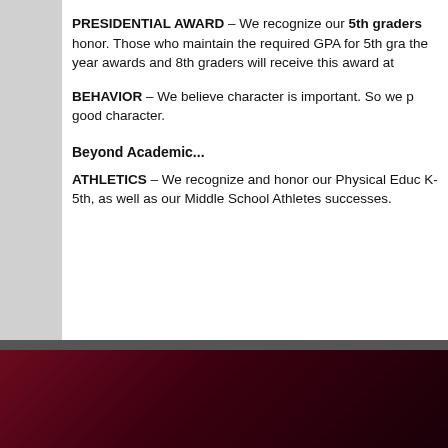PRESIDENTIAL AWARD – We recognize our 5th graders honor. Those who maintain the required GPA for 5th gra the year awards and 8th graders will receive this award at
BEHAVIOR – We believe character is important. So we p good character.
Beyond Academic...
ATHLETICS – We recognize and honor our Physical Educ K-5th, as well as our Middle School Athletes successes.
Concordia Christian